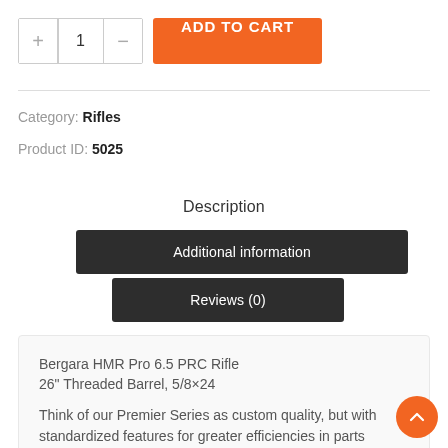+ 1 - ADD TO CART
Category: Rifles
Product ID: 5025
Description
Additional information
Reviews (0)
Bergara HMR Pro 6.5 PRC Rifle 26" Threaded Barrel, 5/8×24
Think of our Premier Series as custom quality, but with standardized features for greater efficiencies in parts